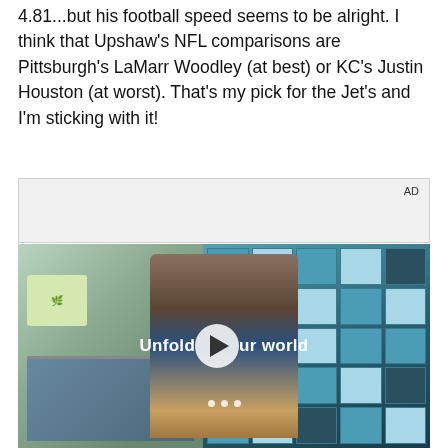4.81...but his football speed seems to be alright. I think that Upshaw's NFL comparisons are Pittsburgh's LaMarr Woodley (at best) or KC's Justin Houston (at worst). That's my pick for the Jet's and I'm sticking with it!
[Figure (other): Advertisement container with 'AD' label in top right corner, followed by a video player showing a young man in a denim jacket standing in front of a tiled window background. Text overlay reads 'Unfold your world' with a play button.]